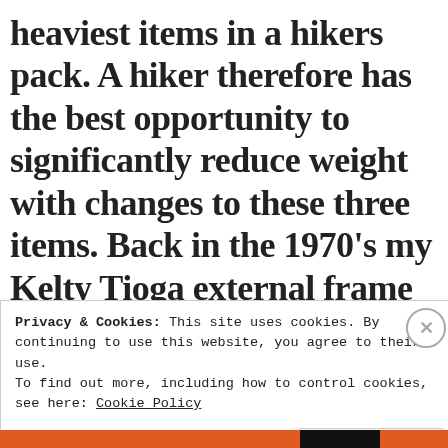heaviest items in a hikers pack. A hiker therefore has the best opportunity to significantly reduce weight with changes to these three items. Back in the 1970's my Kelty Tioga external frame backpack probably weighted close to 5 pounds. The
Privacy & Cookies: This site uses cookies. By continuing to use this website, you agree to their use.
To find out more, including how to control cookies, see here: Cookie Policy
Close and accept